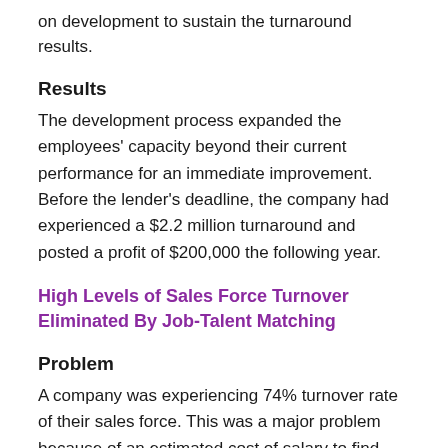on development to sustain the turnaround results.
Results
The development process expanded the employees' capacity beyond their current performance for an immediate improvement. Before the lender's deadline, the company had experienced a $2.2 million turnaround and posted a profit of $200,000 the following year.
High Levels of Sales Force Turnover Eliminated By Job-Talent Matching
Problem
A company was experiencing 74% turnover rate of their sales force. This was a major problem because of an estimated cost of salary to find and train a replacement can be up to twice an employee's the damage to morale